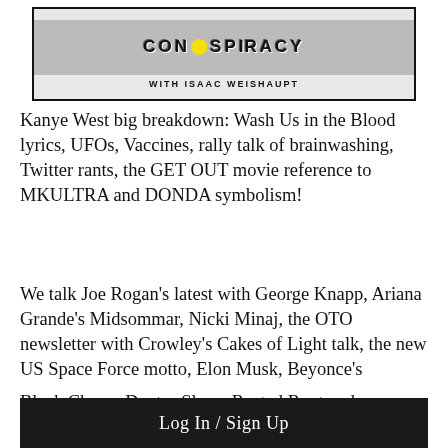[Figure (illustration): Partial view of a show/podcast cover image with distressed texture. Text reads 'WITH ISAAC WEISHAUPT' at the bottom of the image box. The top portion shows a stylized title with a yellow circle/dot element, heavily stylized dark text, and a grungy black and white aesthetic.]
Kanye West big breakdown: Wash Us in the Blood lyrics, UFOs, Vaccines, rally talk of brainwashing, Twitter rants, the GET OUT movie reference to MKULTRA and DONDA symbolism!
We talk Joe Rogan's latest with George Knapp, Ariana Grande's Midsommar, Nicki Minaj, the OTO newsletter with Crowley's Cakes of Light talk, the new US Space Force motto, Elon Musk, Beyonce's
Black Chyna, Doctor Sleep, Rusted Root and
[Figure (screenshot): Log In / Sign Up button bar — dark/black rounded rectangle with white text reading 'Log In / Sign Up']